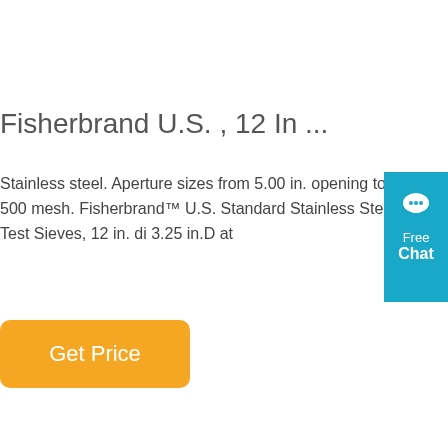Fisherbrand U.S. , 12 In ...
Stainless steel. Aperture sizes from 5.00 in. opening to 500 mesh. Fisherbrand™ U.S. Standard Stainless Steel Test Sieves, 12 in. di 3.25 in.D at
[Figure (other): Blue chat widget with speech bubble icon, 'Free Chat' label in white text]
Get Price